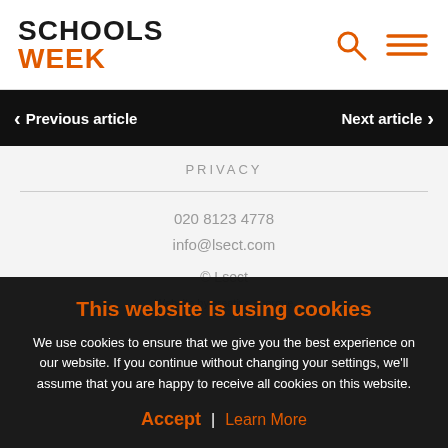SCHOOLS WEEK
Previous article | Next article
PRIVACY
020 8123 4778
info@lsect.com

© Lsect
Website by creative sparque
This website is using cookies
We use cookies to ensure that we give you the best experience on our website. If you continue without changing your settings, we'll assume that you are happy to receive all cookies on this website.
Accept | Learn More